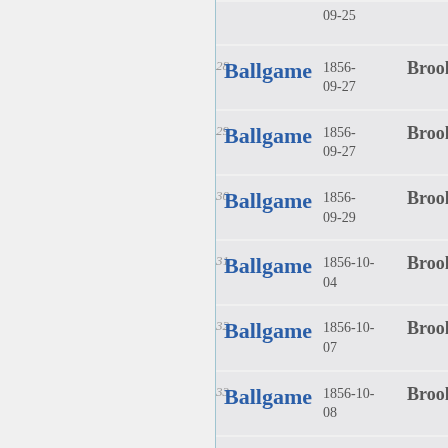| # | Type | Date | Place |  |
| --- | --- | --- | --- | --- |
|  | Ballgame | 1856-09-25 | Brooklyn | B |
| 28 | Ballgame | 1856-09-27 | Brooklyn | B |
| 29 | Ballgame | 1856-09-27 | Brooklyn | B |
| 30 | Ballgame | 1856-09-29 | Brooklyn | B |
| 31 | Ballgame | 1856-10-04 | Brooklyn | B |
| 32 | Ballgame | 1856-10-07 | Brooklyn | B |
| 33 | Ballgame | 1856-10-08 | Brooklyn | B |
| 34 | Ballgame | 1856-10- | Brooklyn | B |